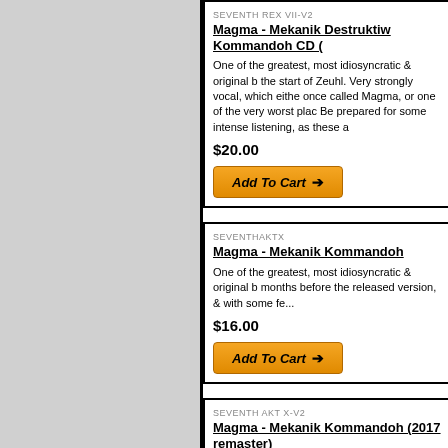SEVENTH REX VII-V2
Magma - Mekanik Destruktiw Kommandoh CD (
One of the greatest, most idiosyncratic & original b... the start of Zeuhl. Very strongly vocal, which eithe... once called Magma, or one of the very worst plac... Be prepared for some intense listening, as these a...
$20.00
[Figure (other): Add To Cart button (orange gradient button with arrow)]
SEVENTHAKTX
Magma - Mekanik Kommandoh
One of the greatest, most idiosyncratic & original b... months before the released version, & with some fe...
$16.00
[Figure (other): Add To Cart button (orange gradient button with arrow)]
SEVENTH AKT X-V2
Magma - Mekanik Kommandoh (2017 remaster)
One of the greatest, most idiosyncratic & original b...